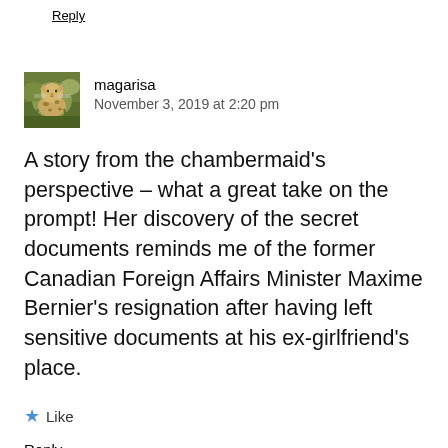Reply
[Figure (photo): Small square avatar photo showing a wild cat or leopard in a natural setting]
magarisa
November 3, 2019 at 2:20 pm
A story from the chambermaid's perspective – what a great take on the prompt! Her discovery of the secret documents reminds me of the former Canadian Foreign Affairs Minister Maxime Bernier's resignation after having left sensitive documents at his ex-girlfriend's place.
Like
Reply